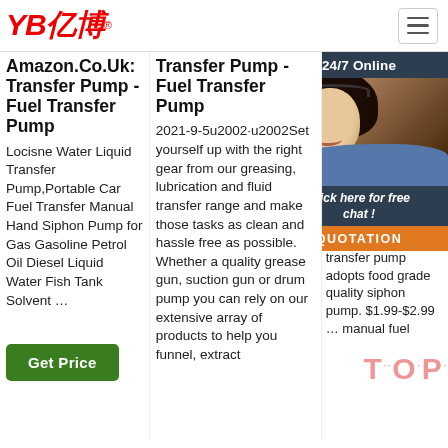[Figure (logo): YB亿博 logo in red italic bold text with registered trademark symbol]
Amazon.Co.Uk: Transfer Pump - Fuel Transfer Pump
Locisne Water Liquid Transfer Pump,Portable Car Fuel Transfer Manual Hand Siphon Pump for Gas Gasoline Petrol Oil Diesel Liquid Water Fish Tank Solvent …
Get Price
Transfer Pump - Fuel Transfer Pump
2021-9-5u2002·u2002Set yourself up with the right gear from our greasing, lubrication and fluid transfer range and make those tasks as clean and hassle free as possible. Whether a quality grease gun, suction gun or drum pump you can rely on our extensive array of products to help you funnel, extract
Manual Fuel Pump Vehicle Manual Alibaba
Siphon Portable Car Fuel Pump Oil Diesel Syphon
Plastic siphon pump manual liquid fuel transfer pump adopts food grade quality siphon pump. $1.99-$2.99 … manual fuel
[Figure (photo): 24/7 Online chat widget showing a smiling woman with headset, dark background header, click for free chat text, and orange QUOTATION button]